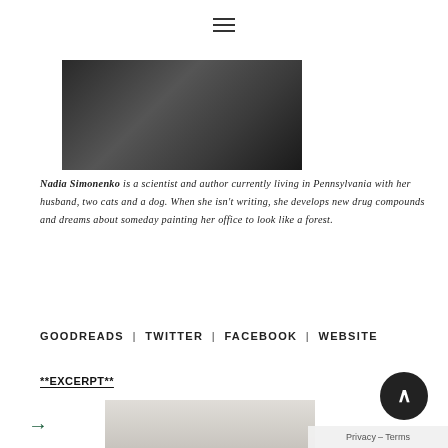[Figure (photo): Dark toned photograph strip at top of page, partially visible, showing a dark outdoor or nature scene]
Nadia Simonenko is a scientist and author currently living in Pennsylvania with her husband, two cats and a dog. When she isn't writing, she develops new drug compounds and dreams about someday painting her office to look like a forest.
GOODREADS | TWITTER | FACEBOOK | WEBSITE
**EXCERPT**
[Figure (photo): Partial photo visible at bottom of page]
→